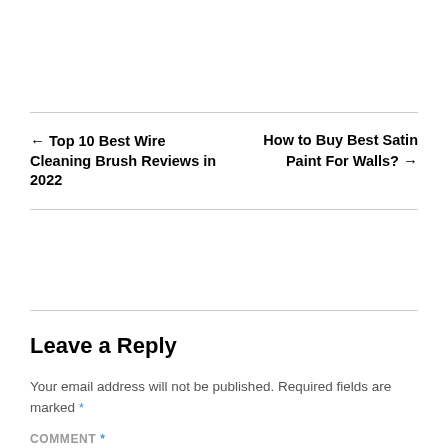← Top 10 Best Wire Cleaning Brush Reviews in 2022
How to Buy Best Satin Paint For Walls? →
Leave a Reply
Your email address will not be published. Required fields are marked *
COMMENT *